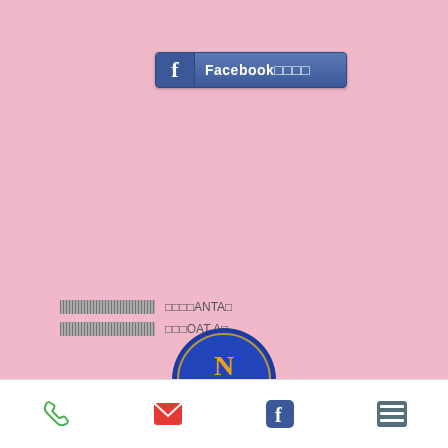[Figure (screenshot): Facebook button with 'f' icon and text 'Facebook□□□□' on pink background]
□□□□□□□□□□□□□  □□□□ANTA□
□□□□□□□□□□□□□  □□□OAT A□
[Figure (logo): Blue circular logo partially visible at bottom]
[Figure (screenshot): Bottom navigation bar with phone, email, Facebook, and menu icons]